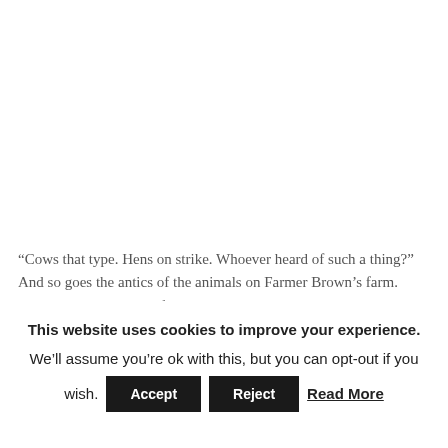“Cows that type. Hens on strike. Whoever heard of such a thing?” And so goes the antics of the animals on Farmer Brown’s farm.  Never  have there been farm animals so
This website uses cookies to improve your experience. We’ll assume you’re ok with this, but you can opt-out if you wish. Accept Reject Read More